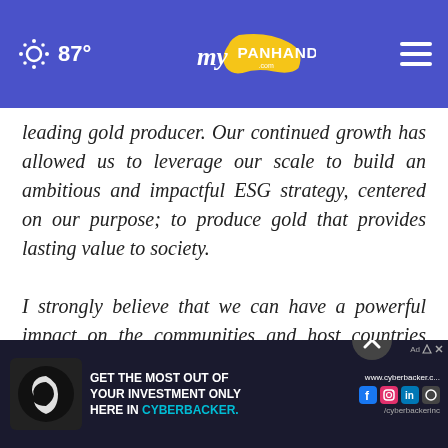87° myPanhandle.com
leading gold producer. Our continued growth has allowed us to leverage our scale to build an ambitious and impactful ESG strategy, centered on our purpose; to produce gold that provides lasting value to society.

I strongly believe that we can have a powerful impact on the communities and host countries where we operate by offering a range of socio-economic development opportunities from employment … supporting local businesses and providing indirect jobs via
[Figure (screenshot): Advertisement banner: Cyberbacker ad with logo and text 'GET THE MOST OUT OF YOUR INVESTMENT ONLY HERE IN CYBERBACKER.' with social media icons and website www.cyberbacker.com]